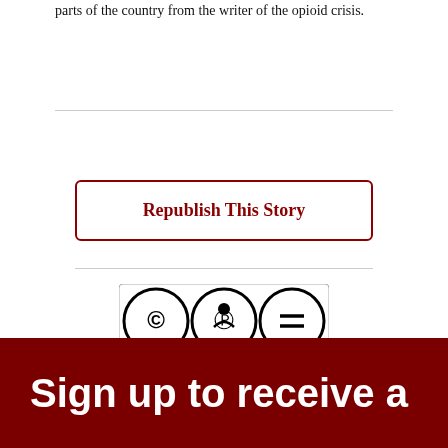parts of the country from the writer of the opioid crisis.
[Figure (other): Republish This Story button with dark red border and text]
[Figure (other): Creative Commons BY-ND license badge]
Sign up to receive a